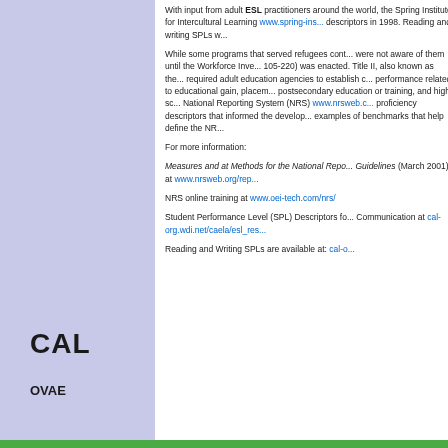With input from adult ESL practitioners around... Institute for Intercultural Learning www.spring-ins... descriptors in 1998. Reading and writing SPLs w...
While some programs that served refugees cont... were not aware of them until the Workforce Inve... 105-220) was enacted. Title II, also known as th... required adult education agencies to establish c... performance related to educational gain, placem... postsecondary education or training, and high sc... National Reporting System (NRS) www.nrsweb.c... proficiency descriptors that informed the develop... examples of benchmarks that help define the NR...
For more information:
Measures and at Methods for the National Repo... Guidelines (March 2001) at www.nrsweb.org/rep...
NRS online training at www.oei-tech.com/nrs/
Student Performance Level (SPL) Descriptors fo... Communication at cal-org.wdi.net/caela/esl_res...
Reading and Writing SPLs are available at: cal-o...
[Figure (logo): CAL logo text in bold black letters]
OVAE